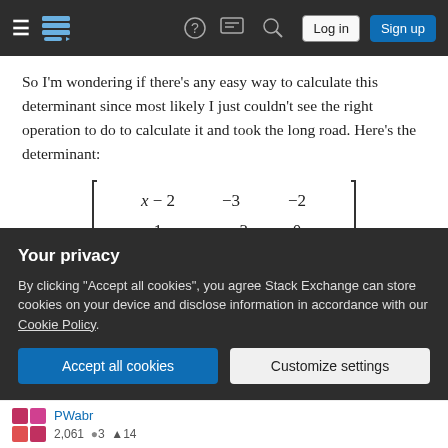Stack Exchange navigation bar with hamburger menu, logo, help, chat, search icons, Log in and Sign up buttons
So I'm wondering if there's any easy way to calculate this determinant since most likely I just couldn't see the right operation to do to calculate it and took the long road. Here's the determinant:
Any feedback and tips are really appreciated, thanks in
Your privacy
By clicking "Accept all cookies", you agree Stack Exchange can store cookies on your device and disclose information in accordance with our Cookie Policy.
Accept all cookies   Customize settings
PWabr 2,061 3 14